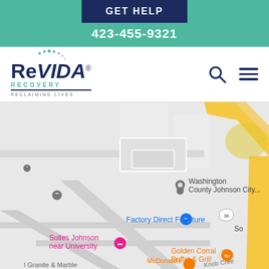GET HELP
423-455-9321
[Figure (logo): ReVIDA Recovery - Reclaiming Lives logo with teal dots arc and dark navy text]
[Figure (map): Google Maps screenshot showing area near Washington County Johnson City, with landmarks including Factory Direct Furniture, Suites Johnson near University, Golden Corral Buffet & Grill, McDonald's, and Knob Creek road. Routes 36 and 381 visible. Yellow highway and grey roads visible.]